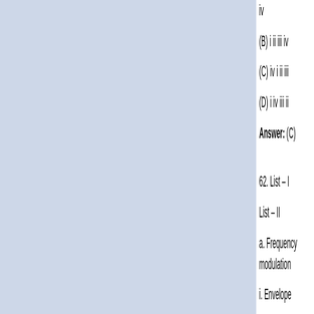iv
(B) i ii iii iv
(C) iv i ii iii
(D) i iv iii ii
Answer: (C)
62. List – I
List – II
a. Frequency modulation
i. Envelope